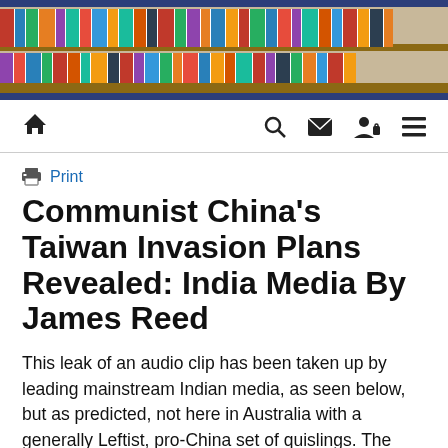[Figure (photo): Header image showing a bookshelf with colorful books on wooden shelves, framed by a dark navy blue bar at top and bottom]
🏠  🔍  ✉  👤🔒  ☰
Print
Communist China's Taiwan Invasion Plans Revealed: India Media By James Reed
This leak of an audio clip has been taken up by leading mainstream Indian media, as seen below, but as predicted, not here in Australia with a generally Leftist, pro-China set of quislings. The audio clip which was obtained by Jennifer Zeng, China-born human rights